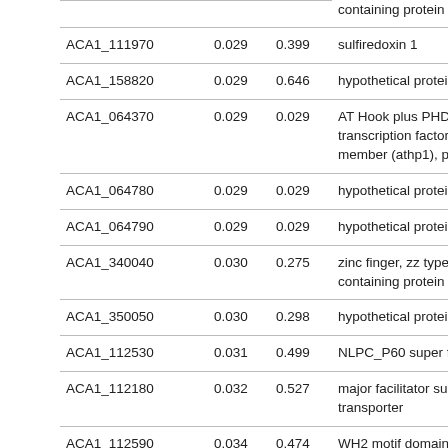|  |  |  | containing protein |
| ACA1_111970 | 0.029 | 0.399 | sulfiredoxin 1 |
| ACA1_158820 | 0.029 | 0.646 | hypothetical protein |
| ACA1_064370 | 0.029 | 0.029 | AT Hook plus PHD finger transcription factor family member (athp1), putative |
| ACA1_064780 | 0.029 | 0.029 | hypothetical protein |
| ACA1_064790 | 0.029 | 0.029 | hypothetical protein |
| ACA1_340040 | 0.030 | 0.275 | zinc finger, zz type domain containing protein |
| ACA1_350050 | 0.030 | 0.298 | hypothetical protein |
| ACA1_112530 | 0.031 | 0.499 | NLPC_P60 super family |
| ACA1_112180 | 0.032 | 0.527 | major facilitator subfamily transporter |
| ACA1_112590 | 0.034 | 0.474 | WH2 motif domain |